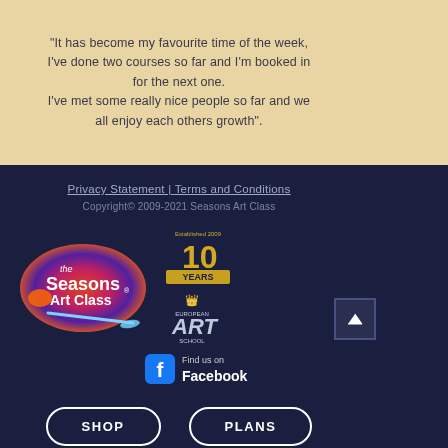"It has become my favourite time of the week, I've done two courses so far and I'm booked in for the next one. I've met some really nice people so far and we all enjoy each others growth".
Privacy Statement | Terms and Conditions
Copyright© 2009-2021 Seasons Art Class
[Figure (logo): The Seasons Art Class logo - colorful artist palette shape with white text]
[Figure (logo): 10 Years badge - gold/yellow badge with 'Established 2009' and '10 YEARS' text]
[Figure (logo): European Art School badge - white/silver crest with 'EUROPEAN ART SCHOOL' text]
[Figure (logo): Find us on Facebook - Facebook icon with text 'Find us on Facebook']
SHOP
PLANS